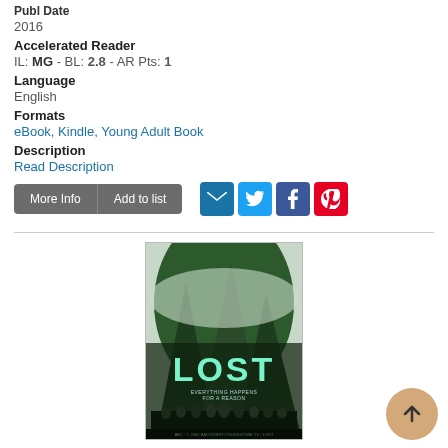Publ Date
2016
Accelerated Reader
IL: MG - BL: 2.8 - AR Pts: 1
Language
English
Formats
eBook, Kindle, Young Adult Book
Description
Read Description
[Figure (screenshot): LOST TV show book cover featuring jungle mountains, cast members, and tagline 'Everything happens for a reason']
[Figure (other): Back to top button - circular tan/beige button with upward arrow]